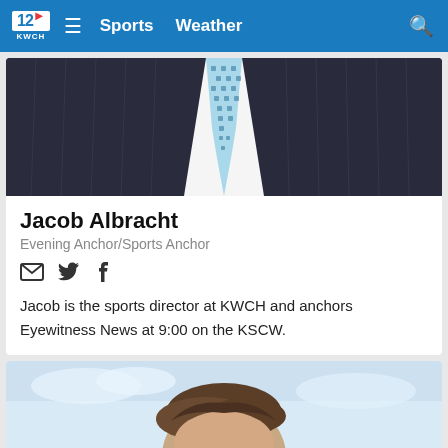12 KWCH | Sports | Weather
[Figure (photo): Photo of Jacob Albracht from chest up, wearing dark navy pinstripe suit and light blue dotted tie against white shirt]
Jacob Albracht
Evening Anchor/Sports Anchor
[Figure (infographic): Social media icons: email envelope, Twitter bird, Facebook f]
Jacob is the sports director at KWCH and anchors Eyewitness News at 9:00 on the KSCW.
[Figure (photo): Partial photo of another news anchor, head visible from top against light blue sky background]